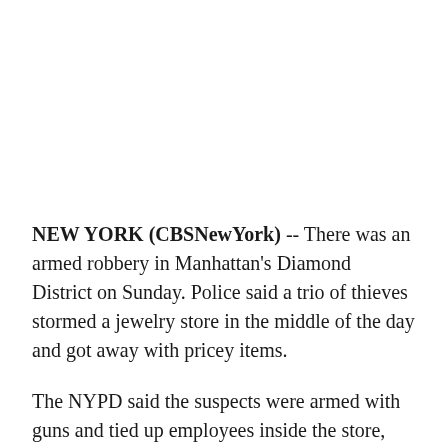NEW YORK (CBSNewYork) -- There was an armed robbery in Manhattan's Diamond District on Sunday. Police said a trio of thieves stormed a jewelry store in the middle of the day and got away with pricey items.
The NYPD said the suspects were armed with guns and tied up employees inside the store, CBS2's Christina Fan reported.